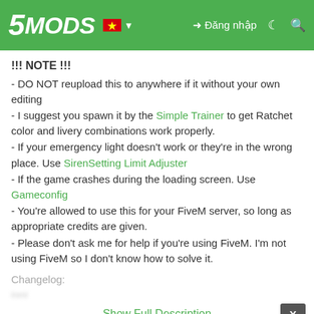5MODS | Đăng nhập
!!! NOTE !!!
- DO NOT reupload this to anywhere if it without your own editing
- I suggest you spawn it by the Simple Trainer to get Ratchet color and livery combinations work properly.
- If your emergency light doesn't work or they're in the wrong place. Use SirenSetting Limit Adjuster
- If the game crashes during the loading screen. Use Gameconfig
- You're allowed to use this for your FiveM server, so long as appropriate credits are given.
- Please don't ask me for help if you're using FiveM. I'm not using FiveM so I don't know how to solve it.
Changelog:
Show Full Description
CAR  SUV  TRUCK  EMERGENCY  VANILLA EDIT